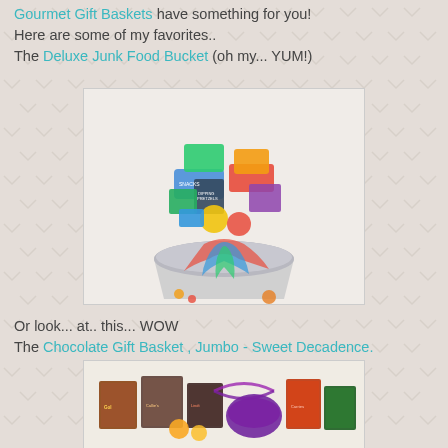Gourmet Gift Baskets have something for you! Here are some of my favorites.. The Deluxe Junk Food Bucket (oh my... YUM!)
[Figure (photo): Photo of the Deluxe Junk Food Bucket gift basket overflowing with snacks, candy, and treats in a silver metal bucket with colorful ribbons.]
Or look... at.. this... WOW The Chocolate Gift Basket , Jumbo - Sweet Decadence.
[Figure (photo): Photo of the Chocolate Gift Basket, Jumbo - Sweet Decadence, showing an arrangement of chocolate boxes and treats.]